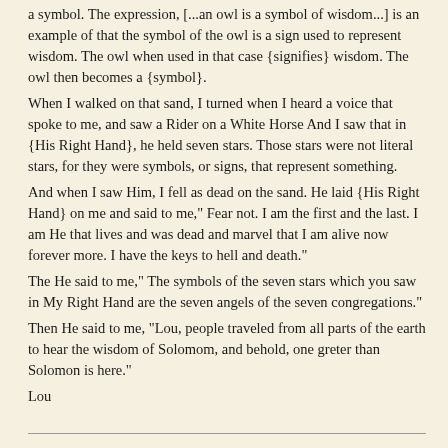a symbol. The expression, [...an owl is a symbol of wisdom...] is an example of that the symbol of the owl is a sign used to represent wisdom. The owl when used in that case {signifies} wisdom. The owl then becomes a {symbol}.
When I walked on that sand, I turned when I heard a voice that spoke to me, and saw a Rider on a White Horse And I saw that in {His Right Hand}, he held seven stars. Those stars were not literal stars, for they were symbols, or signs, that represent something.
And when I saw Him, I fell as dead on the sand. He laid {His Right Hand} on me and said to me," Fear not. I am the first and the last. I am He that lives and was dead and marvel that I am alive now forever more. I have the keys to hell and death."
The He said to me," The symbols of the seven stars which you saw in My Right Hand are the seven angels of the seven congregations."
Then He said to me, "Lou, people traveled from all parts of the earth to hear the wisdom of Solomom, and behold, one greter than Solomon is here."
Lou